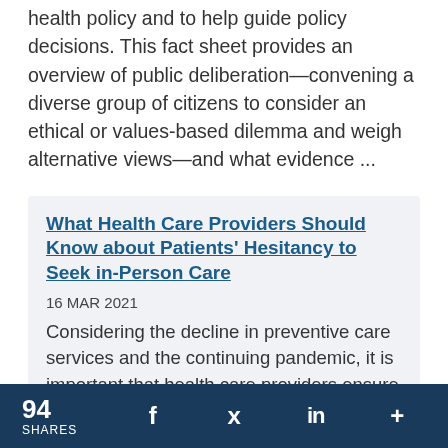health policy and to help guide policy decisions. This fact sheet provides an overview of public deliberation—convening a diverse group of citizens to consider an ethical or values-based dilemma and weigh alternative views—and what evidence ...
What Health Care Providers Should Know about Patients' Hesitancy to Seek in-Person Care
16 MAR 2021
Considering the decline in preventive care services and the continuing pandemic, it is important that health care providers ensure that their patients understand the continued need for preventive care and the efforts health care providers have taken ...
94 SHARES  f  [twitter]  in  +